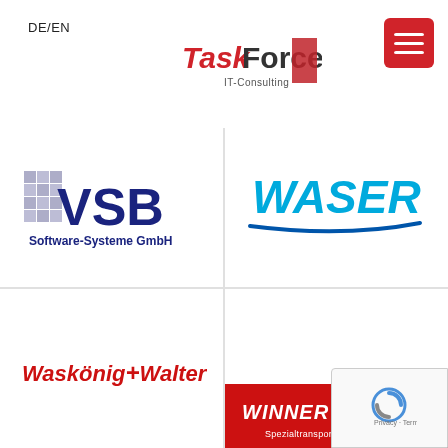DE/EN
[Figure (logo): TaskForce IT-Consulting logo]
[Figure (logo): Menu button (hamburger icon, red background)]
[Figure (logo): VSB Software-Systeme GmbH logo]
[Figure (logo): WASER logo in blue]
[Figure (logo): Waskönig+Walter logo in red]
[Figure (logo): WINNER SPEDITION logo on red background]
[Figure (logo): reCAPTCHA / Privacy badge]